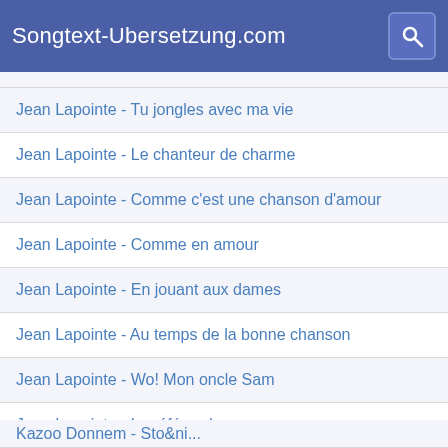Songtext-Ubersetzung.com
Jean Lapointe - Tu jongles avec ma vie
Jean Lapointe - Le chanteur de charme
Jean Lapointe - Comme c'est une chanson d'amour
Jean Lapointe - Comme en amour
Jean Lapointe - En jouant aux dames
Jean Lapointe - Au temps de la bonne chanson
Jean Lapointe - Wo! Mon oncle Sam
Jean Lapointe - Le référendum
Milan Lasica - Jaj Zuzka, Zuzička
La Cherga - Rembetiko 22